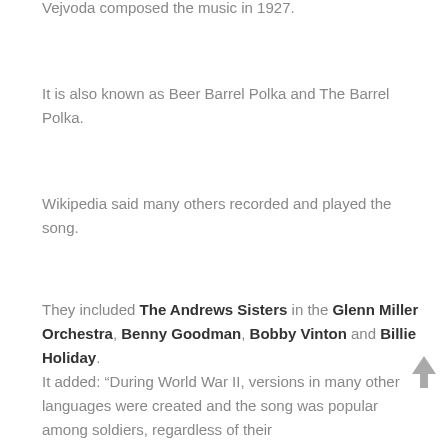According to Filip Bura, Czech musician Jaromir Vejvoda composed the music in 1927.
It is also known as Beer Barrel Polka and The Barrel Polka.
Wikipedia said many others recorded and played the song.
They included The Andrews Sisters in the Glenn Miller Orchestra, Benny Goodman, Bobby Vinton and Billie Holiday.
It added: “During World War II, versions in many other languages were created and the song was popular among soldiers, regardless of their